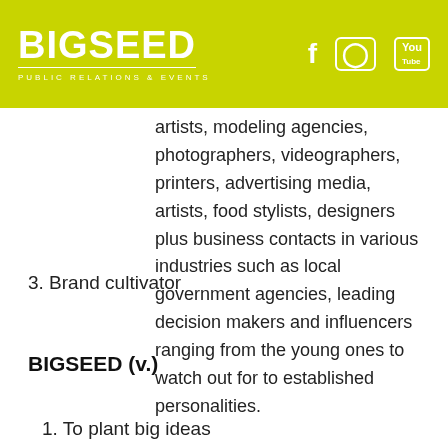[Figure (logo): BIGSEED Public Relations & Events logo with social media icons (Facebook, Instagram, YouTube) on yellow-green background]
artists, modeling agencies, photographers, videographers, printers, advertising media, artists, food stylists, designers plus business contacts in various industries such as local government agencies, leading decision makers and influencers ranging from the young ones to watch out for to established personalities.
3. Brand cultivator
BIGSEED (v.)
1. To plant big ideas
2. To cultivate your company's growth